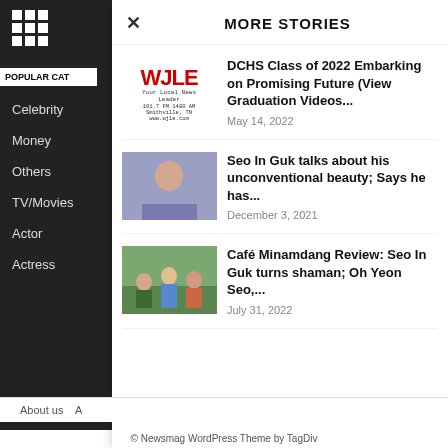[Figure (other): Grid of 9 squares icon (hamburger menu)]
POPULAR CAT
Celebrity
Money
Others
TV/Movies
Actor
Actress
MORE STORIES
[Figure (logo): WJLE radio station logo with text: Your Local News Leader, 101.7 FM  1480 AM, Smithville, TN, www.wjle.com]
DCHS Class of 2022 Embarking on Promising Future (View Graduation Videos...
May 14, 2022
[Figure (photo): Photo of Seo In Guk, a man with light purple/blue background]
Seo In Guk talks about his unconventional beauty; Says he has...
December 3, 2021
[Figure (photo): Photo showing group of people outdoors, Café Minamdang drama cast]
Café Minamdang Review: Seo In Guk turns shaman; Oh Yeon Seo,...
July 31, 2022
About us    A
© Newsmag WordPress Theme by TagDiv